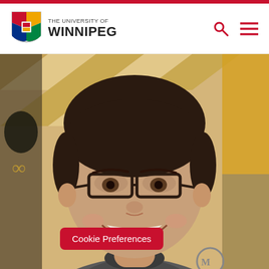THE UNIVERSITY OF WINNIPEG
[Figure (photo): Close-up photo of a smiling young man with dark hair, wearing glasses and a grey hoodie. The background appears to be a patterned quilt with yellow and black colours.]
Cookie Preferences